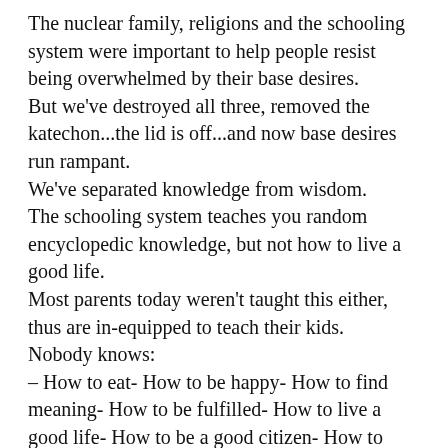The nuclear family, religions and the schooling system were important to help people resist being overwhelmed by their base desires.
But we've destroyed all three, removed the katechon...the lid is off...and now base desires run rampant.
We've separated knowledge from wisdom.
The schooling system teaches you random encyclopedic knowledge, but not how to live a good life.
Most parents today weren't taught this either, thus are in-equipped to teach their kids.
Nobody knows:
– How to eat- How to be happy- How to find meaning- How to be fulfilled- How to live a good life- How to be a good citizen- How to love
Instead, people just defer to culture & politics to answer these questions.
Another layer down, we don't even have the capability to DISCUSS MORALITY.